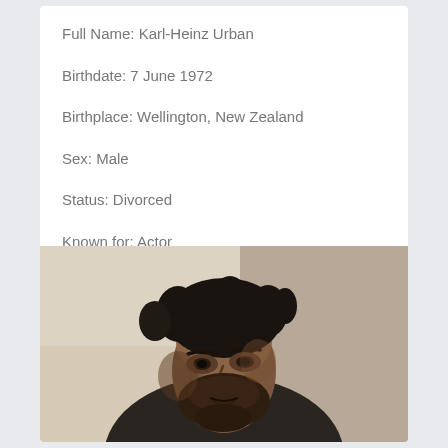Full Name: Karl-Heinz Urban
Birthdate: 7 June 1972
Birthplace: Wellington, New Zealand
Sex: Male
Status: Divorced
Known for: Actor
[Figure (photo): Portrait photo of Karl-Heinz Urban, a man with dark tousled hair and a beard, wearing dark clothing, photographed against a light background]